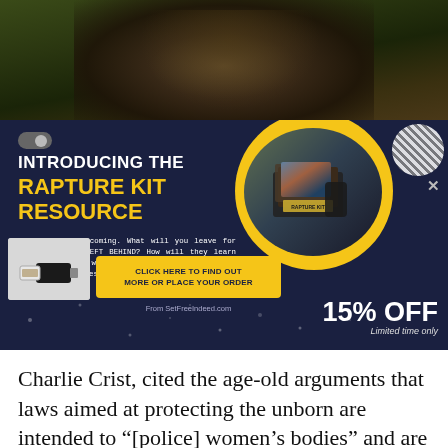[Figure (photo): Close-up photo of a person's face with eyes closed and green textured fabric on head, dark moody lighting]
[Figure (infographic): Dark navy advertisement banner for Rapture Kit Resource from SetFreeIndeed.com. Shows toggle switch, white and yellow bold text, product image in yellow circle, USB drive image, yellow CTA button, 15% OFF discount label. Text reads: INTRODUCING THE RAPTURE KIT RESOURCE. Body copy about the Rapture coming. Button: CLICK HERE TO FIND OUT MORE OR PLACE YOUR ORDER. From SetFreeIndeed.com. 15% OFF Limited time only.]
Charlie Crist, cited the age-old arguments that laws aimed at protecting the unborn are intended to “[police] women’s bodies” and are “unconstitutional.”